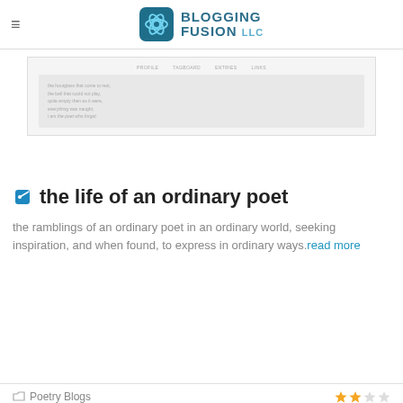BLOGGING FUSION LLC
[Figure (screenshot): Screenshot of a blog profile page showing navigation tabs (PROFILE, TAGBOARD, ENTRIES, LINKS) and a poem excerpt in a text box]
the life of an ordinary poet
the ramblings of an ordinary poet in an ordinary world, seeking inspiration, and when found, to express in ordinary ways.read more
Poetry Blogs